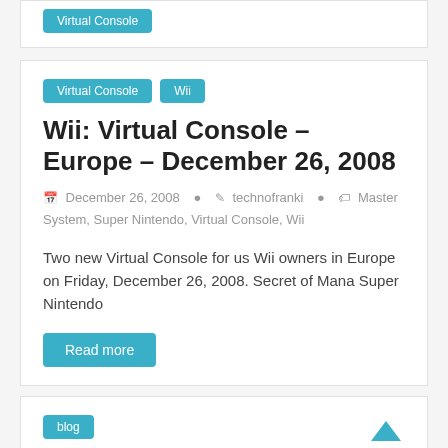[top card partial content]
Virtual Console
Wii
Wii: Virtual Console – Europe – December 26, 2008
December 26, 2008   technofranki   Master System, Super Nintendo, Virtual Console, Wii
Two new Virtual Console for us Wii owners in Europe on Friday, December 26, 2008. Secret of Mana Super Nintendo
Read more
blog